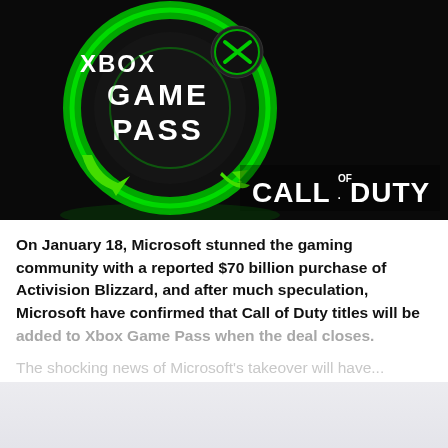[Figure (photo): Xbox Game Pass illuminated circular sign on dark background with Call of Duty logo in bottom right corner. The sign shows 'XBOX GAME PASS' text in white with the Xbox sphere logo, surrounded by a green glowing circular arrow/ring.]
On January 18, Microsoft stunned the gaming community with a reported $70 billion purchase of Activision Blizzard, and after much speculation, Microsoft have confirmed that Call of Duty titles will be added to Xbox Game Pass when the deal closes.
The shocking news of Microsoft's takeover will have...